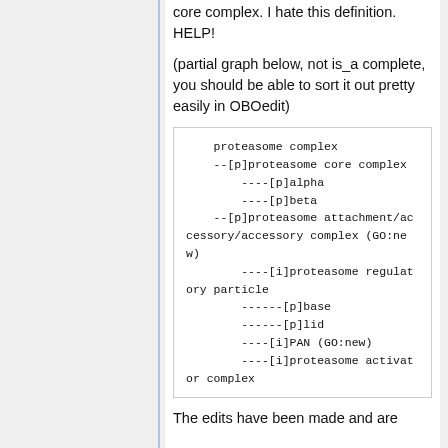core complex. I hate this definition. HELP!
(partial graph below, not is_a complete, you should be able to sort it out pretty easily in OBOedit)
[Figure (other): Monospace text diagram showing proteasome complex hierarchy tree with part-of [p] and is-a [i] relationships]
The edits have been made and are